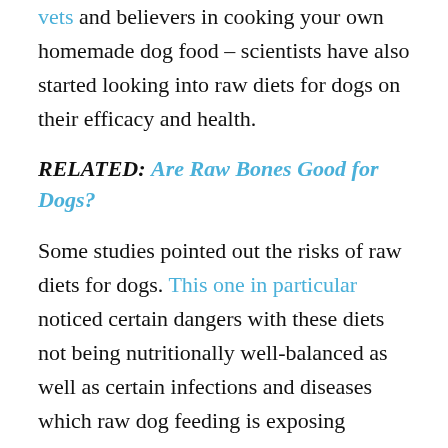vets and believers in cooking your own homemade dog food – scientists have also started looking into raw diets for dogs on their efficacy and health.
RELATED: Are Raw Bones Good for Dogs?
Some studies pointed out the risks of raw diets for dogs. This one in particular noticed certain dangers with these diets not being nutritionally well-balanced as well as certain infections and diseases which raw dog feeding is exposing canines to.
“Clearly, there is some compelling evidence suggesting that raw food diets may be a theoretical risk nutritionally. In addition, raw food poses a substantial risk of infectious disease to the pet, the pet’s environment, and the humans in the household.” – Daniel P. Scheinerman and John T...